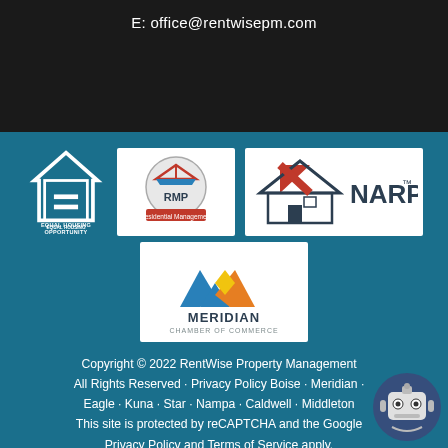E: office@rentwisepm.com
[Figure (logo): Equal Housing Opportunity logo - white house icon with equal sign on teal background, text EQUAL HOUSING OPPORTUNITY below]
[Figure (logo): RMP Residential Management Professional circular badge logo on white background]
[Figure (logo): NARPM logo with house icon on white background]
[Figure (logo): Meridian Chamber of Commerce logo with colorful M icon on white background]
Copyright © 2022 RentWise Property Management All Rights Reserved · Privacy Policy Boise · Meridian · Eagle · Kuna · Star · Nampa · Caldwell · Middleton This site is protected by reCAPTCHA and the Google Privacy Policy and Terms of Service apply.
[Figure (illustration): Chat robot icon in bottom right corner]